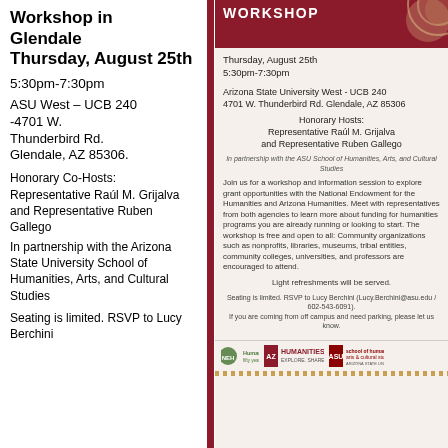Workshop in Glendale Thursday, August 25th
5:30pm-7:30pm
ASU West – UCB 240 -4701 W. Thunderbird Rd. Glendale, AZ 85306.
Honorary Co-Hosts: Representative Raúl M. Grijalva and Representative Ruben Gallego
In partnership with the Arizona State University School of Humanities, Arts, and Cultural Studies
Seating is limited. RSVP to Lucy Berchini
WORKSHOP
Thursday, August 25th
5:30pm-7:30pm
Arizona State University West - UCB 240
4701 W. Thunderbird Rd. Glendale, AZ 85306
Honorary Hosts:
Representative Raúl M. Grijalva
and Representative Ruben Gallego
In partnership with the ASU School of Humanities, Arts, and Cultural Studies
Join us for a workshop and information session to explore grant opportunities with the National Endowment for the Humanities and Arizona Humanities. Meet with representatives from both agencies to learn more about funding for humanities programs you are already running or looking to start. The workshop is free and open to all: Community organizations such as nonprofits, libraries, museums, tribal entities, community colleges, universities, and professors are encouraged to attend.
Light refreshments will be served.
Seating is limited. RSVP to Lucy Berchini (Lucy.Berchini@asu.edu / 602-543-6091). If you are coming from off campus and need parking, please let us know.
[Figure (logo): NEH, Arizona Humanities, and ASU School of Humanities Arts & Cultural Studies logos]